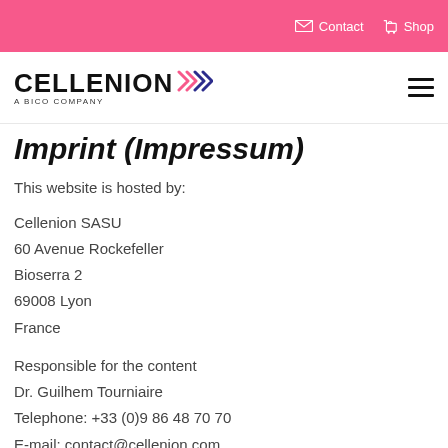Contact  Shop
[Figure (logo): Cellenion logo — wordmark 'CELLENION' with double chevron arrows in pink and blue, subtitle 'A BICO COMPANY']
Imprint (Impressum)
This website is hosted by:
Cellenion SASU
60 Avenue Rockefeller
Bioserra 2
69008 Lyon
France
Responsible for the content
Dr. Guilhem Tourniaire
Telephone: +33 (0)9 86 48 70 70
E-mail: contact@cellenion.com
Register entries: Bureau du greffe à Lyon sous le numéro 820